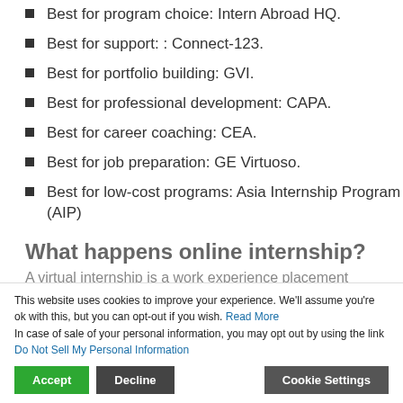Best for program choice: Intern Abroad HQ.
Best for support: : Connect-123.
Best for portfolio building: GVI.
Best for professional development: CAPA.
Best for career coaching: CEA.
Best for job preparation: GE Virtuoso.
Best for low-cost programs: Asia Internship Program (AIP)
What happens online internship?
A virtual internship is a work experience placement completed from home. During the internship students communicate with their employer through a range of resources, including Skype, Microsoft Teams, email, webinars and Slack.
This website uses cookies to improve your experience. We'll assume you're ok with this, but you can opt-out if you wish. Read More
In case of sale of your personal information, you may opt out by using the link Do Not Sell My Personal Information